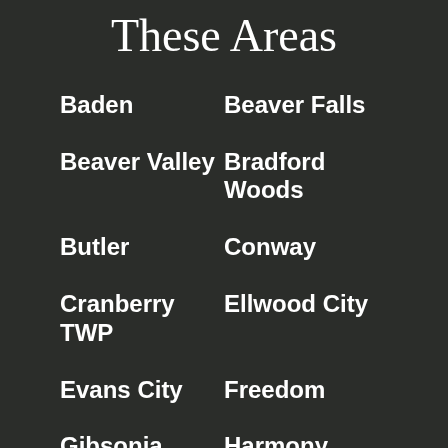These Areas
Baden
Beaver Falls
Beaver Valley
Bradford Woods
Butler
Conway
Cranberry TWP
Ellwood City
Evans City
Freedom
Gibsonia
Harmony
Mars
Monaca
New Brighton
North Pittsburg